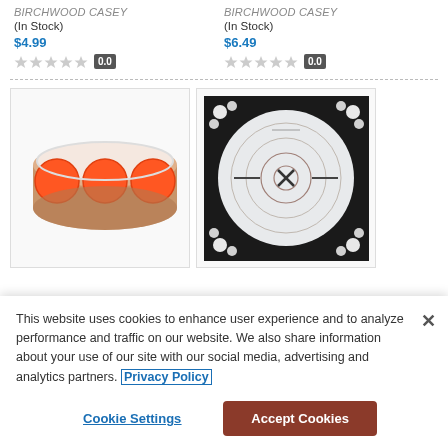BIRCHWOOD CASEY
(In Stock)
$4.99
0.0
BIRCHWOOD CASEY
(In Stock)
$6.49
0.0
[Figure (photo): Roll of orange dot stickers/target stickers on a white background]
[Figure (photo): Black and white shooting target with circular rings and crosshair X in center]
This website uses cookies to enhance user experience and to analyze performance and traffic on our website. We also share information about your use of our site with our social media, advertising and analytics partners. Privacy Policy
Cookie Settings
Accept Cookies